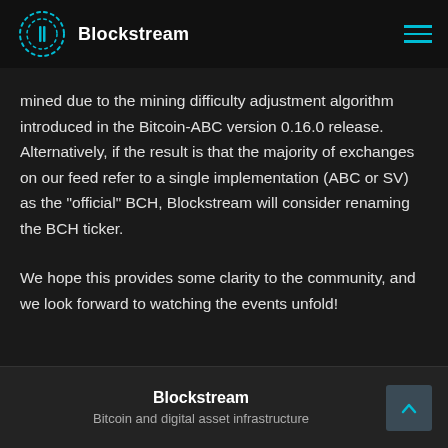Blockstream
mined due to the mining difficulty adjustment algorithm introduced in the Bitcoin-ABC version 0.16.0 release. Alternatively, if the result is that the majority of exchanges on our feed refer to a single implementation (ABC or SV) as the "official" BCH, Blockstream will consider renaming the BCH ticker.
We hope this provides some clarity to the community, and we look forward to watching the events unfold!
Blockstream — Bitcoin and digital asset infrastructure